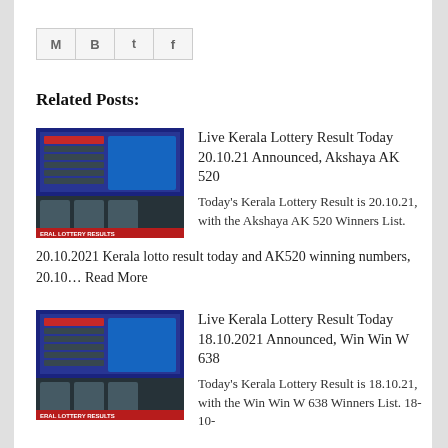[Figure (other): Social share icons: M (email), B (Blogger), t (Twitter), f (Facebook)]
Related Posts:
[Figure (screenshot): Thumbnail image of Kerala Lottery Results broadcast screen]
Live Kerala Lottery Result Today 20.10.21 Announced, Akshaya AK 520
Today's Kerala Lottery Result is 20.10.21, with the Akshaya AK 520 Winners List.
20.10.2021 Kerala lotto result today and AK520 winning numbers, 20.10… Read More
[Figure (screenshot): Thumbnail image of Kerala Lottery Results broadcast screen]
Live Kerala Lottery Result Today 18.10.2021 Announced, Win Win W 638
Today's Kerala Lottery Result is 18.10.21, with the Win Win W 638 Winners List. 18-10-